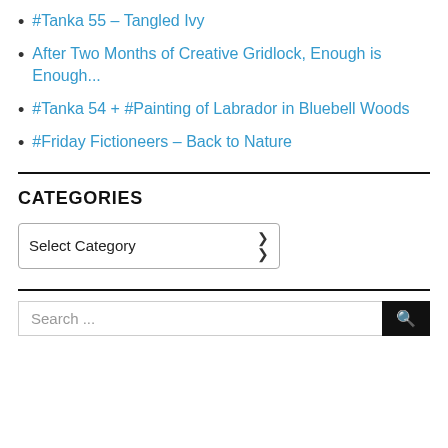#Tanka 55 – Tangled Ivy
After Two Months of Creative Gridlock, Enough is Enough...
#Tanka 54 + #Painting of Labrador in Bluebell Woods
#Friday Fictioneers – Back to Nature
CATEGORIES
Select Category
Search ...